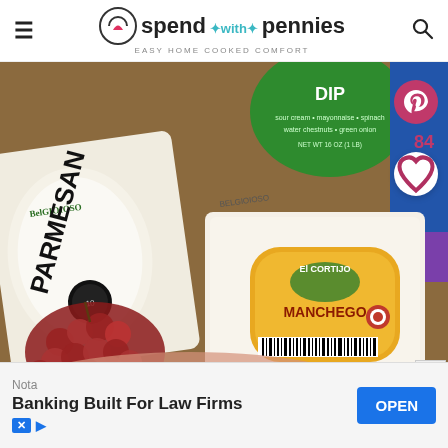spend with pennies — Easy Home Cooked Comfort
[Figure (photo): A spread of grocery items on a wooden table including BelGioioso Parmesan cheese, El Cortijo Manchego cheese wedge, a green DIP container, red grapes, prosciutto, and other grocery items. The image shows a charcuterie/cheese board shopping haul. Watermark reads © SpendWithPennies.com]
84
© SpendWithPennies.com
Nota
Banking Built For Law Firms
OPEN